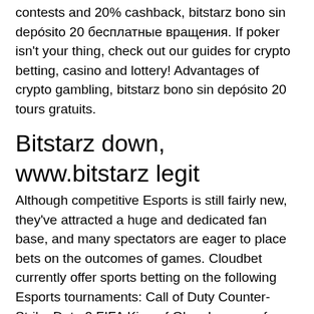contests and 20% cashback, bitstarz bono sin depósito 20 бесплатные вращения. If poker isn't your thing, check out our guides for crypto betting, casino and lottery! Advantages of crypto gambling, bitstarz bono sin depósito 20 tours gratuits.
Bitstarz down, www.bitstarz legit
Although competitive Esports is still fairly new, they've attracted a huge and dedicated fan base, and many spectators are eager to place bets on the outcomes of games. Cloudbet currently offer sports betting on the following Esports tournaments: Call of Duty Counter-Strike Dota 2 FIFA King of Glory League of Legends Starcraft, bitstarz bono sin depósito 2022. It's estimated that 1. Gambling sites like Cloudbet, who have